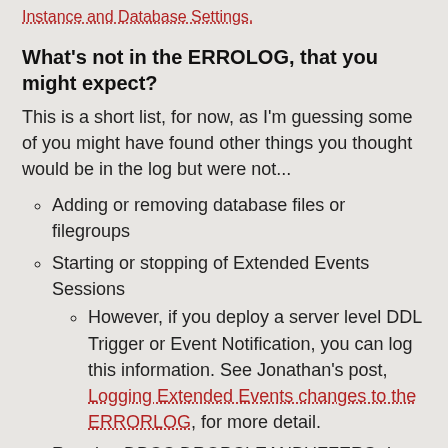Instance and Database Settings.
What’s not in the ERROLOG, that you might expect?
This is a short list, for now, as I’m guessing some of you might have found other things you thought would be in the log but were not...
Adding or removing database files or filegroups
Starting or stopping of Extended Events Sessions
However, if you deploy a server level DDL Trigger or Event Notification, you can log this information. See Jonathan’s post, Logging Extended Events changes to the ERRORLOG, for more detail.
Running DBCC DROPCLEANBUFFERS does show up in the ERRORLOG
Managing the Log